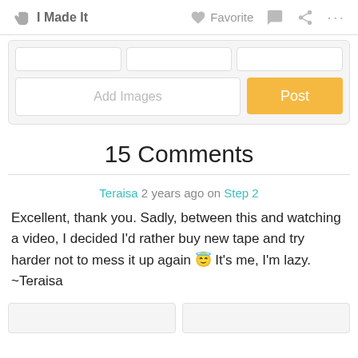✋ I Made It   ♡ Favorite  💬  ⎌  ···
[Figure (screenshot): Form area with input boxes, Add Images button, and orange Post button]
15 Comments
Teraisa 2 years ago on Step 2
Excellent, thank you. Sadly, between this and watching a video, I decided I'd rather buy new tape and try harder not to mess it up again 😅 It's me, I'm lazy. ~Teraisa